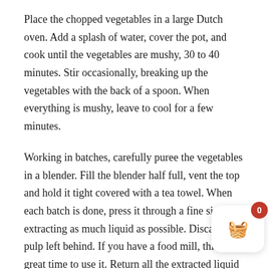Place the chopped vegetables in a large Dutch oven. Add a splash of water, cover the pot, and cook until the vegetables are mushy, 30 to 40 minutes. Stir occasionally, breaking up the vegetables with the back of a spoon. When everything is mushy, leave to cool for a few minutes.
Working in batches, carefully puree the vegetables in a blender. Fill the blender half full, vent the top and hold it tight covered with a tea towel. When each batch is done, press it through a fine sieve, extracting as much liquid as possible. Discard the pulp left behind. If you have a food mill, this is a great time to use it. Return all the extracted liquid to the pot. Add the sugar, lemon juice, salt, pe[pper,] Worcestershire sauce and hot sauce. Bring the mix to a boil and boil for 3 minutes.